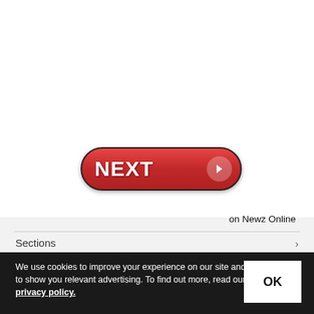[Figure (screenshot): A red pill-shaped NEXT button with white bold text and a right-arrow icon in a circular badge on the right side]
on Newz Online
Sections
We use cookies to improve your experience on our site and to show you relevant advertising. To find out more, read our privacy policy.
OK